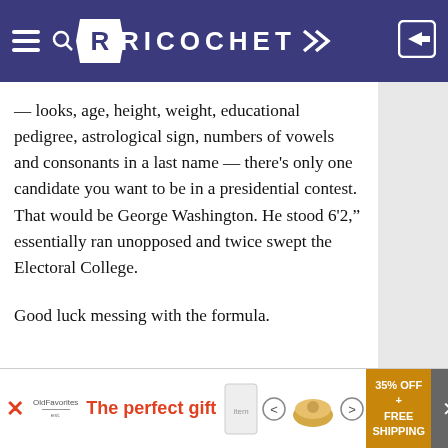RICOCHET
— looks, age, height, weight, educational pedigree, astrological sign, numbers of vowels and consonants in a last name — there's only one candidate you want to be in a presidential contest. That would be George Washington. He stood 6'2," essentially ran unopposed and twice swept the Electoral College.
Good luck messing with the formula.
[Figure (other): Advertisement banner at bottom: 'The perfect gift' in red text with product images, navigation arrows, and '35% OFF + FREE SHIPPING' in gold box. Close button X on right.]